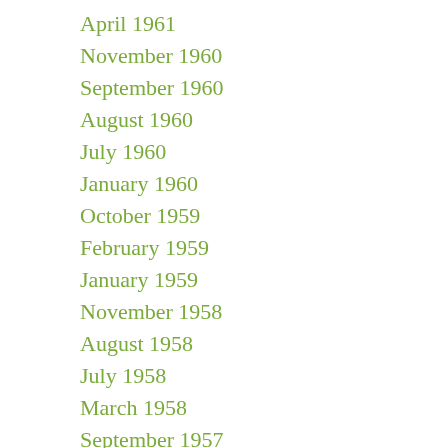April 1961
November 1960
September 1960
August 1960
July 1960
January 1960
October 1959
February 1959
January 1959
November 1958
August 1958
July 1958
March 1958
September 1957
May 1957
April 1957
February 1957